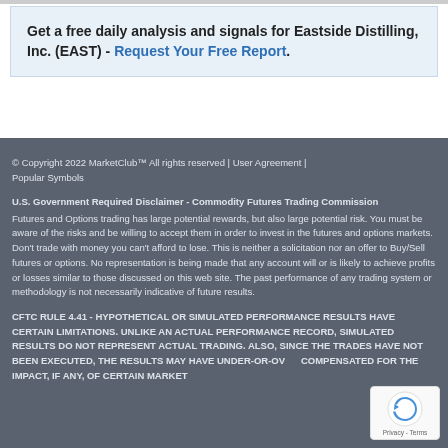Get a free daily analysis and signals for Eastside Distilling, Inc. (EAST) - Request Your Free Report.
© Copyright 2022 MarketClub™ All rights reserved | User Agreement | Popular Symbols
U.S. Government Required Disclaimer - Commodity Futures Trading Commission
Futures and Options trading has large potential rewards, but also large potential risk. You must be aware of the risks and be willing to accept them in order to invest in the futures and options markets. Don't trade with money you can't afford to lose. This is neither a solicitation nor an offer to Buy/Sell futures or options. No representation is being made that any account will or is likely to achieve profits or losses similar to those discussed on this web site. The past performance of any trading system or methodology is not necessarily indicative of future results.
CFTC RULE 4.41 - HYPOTHETICAL OR SIMULATED PERFORMANCE RESULTS HAVE CERTAIN LIMITATIONS. UNLIKE AN ACTUAL PERFORMANCE RECORD, SIMULATED RESULTS DO NOT REPRESENT ACTUAL TRADING. ALSO, SINCE THE TRADES HAVE NOT BEEN EXECUTED, THE RESULTS MAY HAVE UNDER-OR-OVER COMPENSATED FOR THE IMPACT, IF ANY, OF CERTAIN MARKET